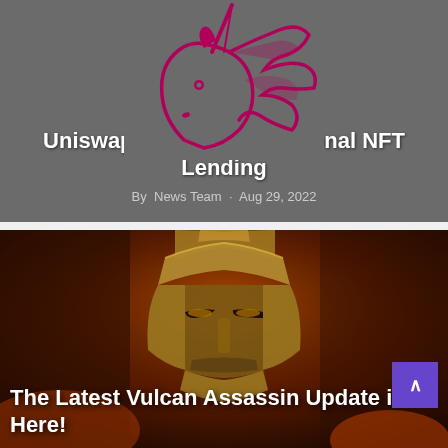[Figure (logo): Uniswap unicorn logo — pink/crimson line-art unicorn head on dark grey background]
Uniswap to Launch Fractional NFT Lending
By  News Team  ·  Aug 29, 2022
[Figure (photo): Close-up of a golden armored warrior/knight face wearing a detailed helmet against a fiery orange-red background]
The Latest Vulcan Assassin Update is Here!